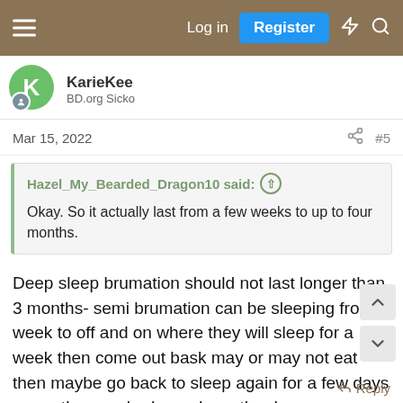Log in  Register
KarieKee
BD.org Sicko
Mar 15, 2022  #5
Hazel_My_Bearded_Dragon10 said:
Okay. So it actually last from a few weeks to up to four months.
Deep sleep brumation should not last longer than 3 months- semi brumation can be sleeping from a week to off and on where they will sleep for a week then come out bask may or may not eat then maybe go back to sleep again for a few days or another week- depends on the dragon